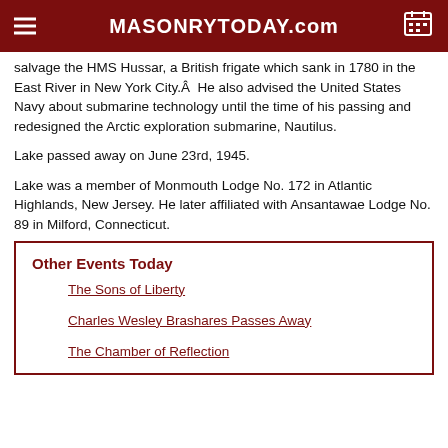MASONRYTODAY.com
salvage the HMS Hussar, a British frigate which sank in 1780 in the East River in New York City.Â  He also advised the United States Navy about submarine technology until the time of his passing and redesigned the Arctic exploration submarine, Nautilus.
Lake passed away on June 23rd, 1945.
Lake was a member of Monmouth Lodge No. 172 in Atlantic Highlands, New Jersey. He later affiliated with Ansantawae Lodge No. 89 in Milford, Connecticut.
Other Events Today
The Sons of Liberty
Charles Wesley Brashares Passes Away
The Chamber of Reflection